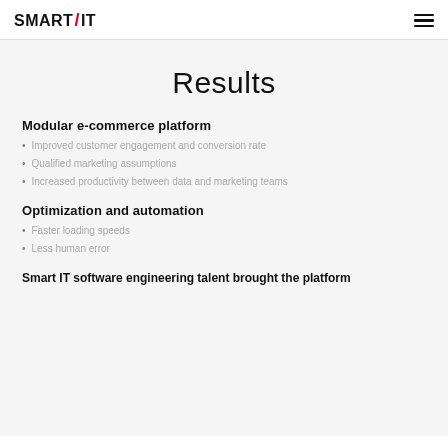SMART/IT
Results
Modular e-commerce platform
Improved customer engagement and conversion rate
Qualified marketing assumptions
Increased productivity between data and marketing teams
Optimization and automation
Faster loading speeds
Less human error
Smart IT software engineering talent brought the platform